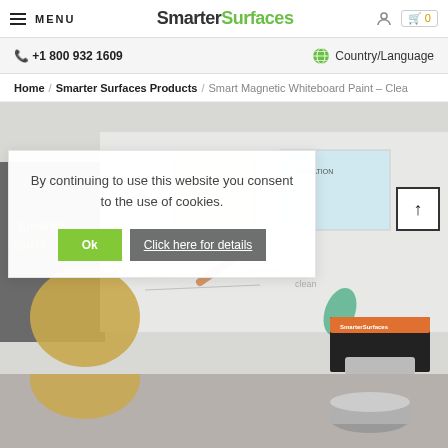MENU | SmarterSurfaces | 0
+1 800 932 1609 | Country/Language
Home / Smarter Surfaces Products / Smart Magnetic Whiteboard Paint – Clea
[Figure (photo): Woman pointing at a Smarter Surfaces magnetic whiteboard with cards and notes pinned on it. Smarter Surfaces product box visible in lower right.]
By continuing to use this website you consent to the use of cookies.
Ok
Click here for details